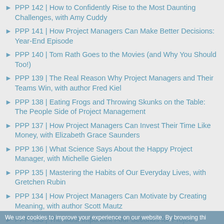PPP 142 | How to Confidently Rise to the Most Daunting Challenges, with Amy Cuddy
PPP 141 | How Project Managers Can Make Better Decisions: Year-End Episode
PPP 140 | Tom Rath Goes to the Movies (and Why You Should Too!)
PPP 139 | The Real Reason Why Project Managers and Their Teams Win, with author Fred Kiel
PPP 138 | Eating Frogs and Throwing Skunks on the Table: The People Side of Project Management
PPP 137 | How Project Managers Can Invest Their Time Like Money, with Elizabeth Grace Saunders
PPP 136 | What Science Says About the Happy Project Manager, with Michelle Gielen
PPP 135 | Mastering the Habits of Our Everyday Lives, with Gretchen Rubin
PPP 134 | How Project Managers Can Motivate by Creating Meaning, with author Scott Mautz
PPP 133 | The Most Important Four Seconds for Project Managers, with author Peter Bregman
We use cookies to improve your experience on our website. By browsing thi